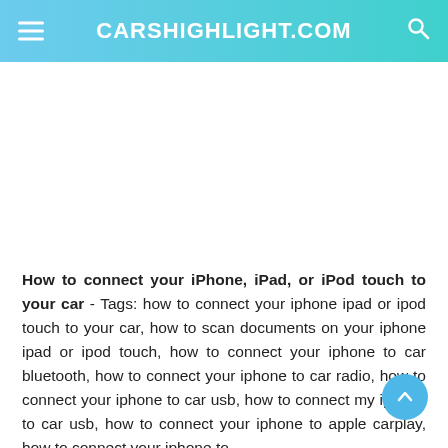CARSHIGHLIGHT.COM
[Figure (other): Advertisement/blank white space area]
How to connect your iPhone, iPad, or iPod touch to your car - Tags: how to connect your iphone ipad or ipod touch to your car, how to scan documents on your iphone ipad or ipod touch, how to connect your iphone to car bluetooth, how to connect your iphone to car radio, how to connect your iphone to car usb, how to connect my iphone to car usb, how to connect your iphone to apple carplay, how to connect your iphone to